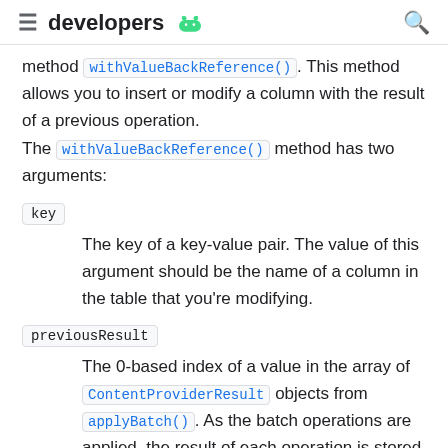developers
method withValueBackReference(). This method allows you to insert or modify a column with the result of a previous operation.
The withValueBackReference() method has two arguments:
key
The key of a key-value pair. The value of this argument should be the name of a column in the table that you're modifying.
previousResult
The 0-based index of a value in the array of ContentProviderResult objects from applyBatch(). As the batch operations are applied, the result of each operation is stored in an